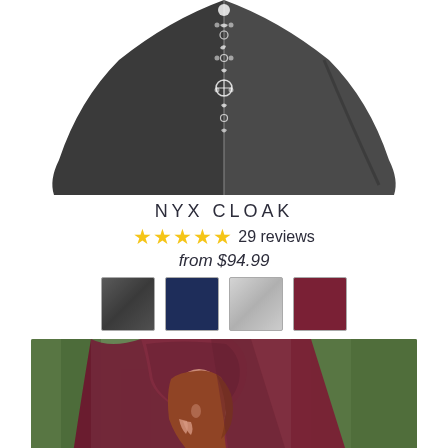[Figure (photo): Black cloak with moon phase lace-up detail at center front, displayed floating against white background, showing the lower portion of the garment fanning out]
NYX CLOAK
★★★★★ 29 reviews
from $94.99
[Figure (other): Four color swatches: dark gray/black textured, navy blue, light gray, and burgundy/wine]
[Figure (photo): Woman wearing a deep burgundy/wine colored hooded cloak, red-haired, photographed in a forest setting with soft bokeh background]